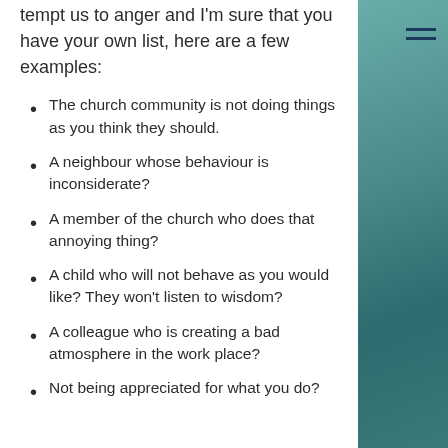tempt us to anger and I'm sure that you have your own list, here are a few examples:
The church community is not doing things as you think they should.
A neighbour whose behaviour is inconsiderate?
A member of the church who does that annoying thing?
A child who will not behave as you would like? They won't listen to wisdom?
A colleague who is creating a bad atmosphere in the work place?
Not being appreciated for what you do?